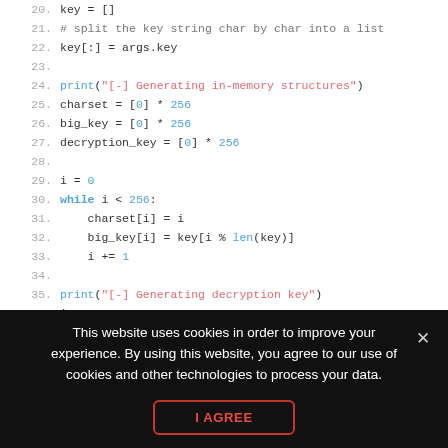[Figure (screenshot): Python source code snippet with syntax highlighting, lines 20-38, showing key initialization, charset and big_key setup, while loops, and print statements for in-memory structures and decryption key generation.]
This website uses cookies in order to improve your experience. By using this website, you agree to our use of cookies and other technologies to process your data.
I AGREE